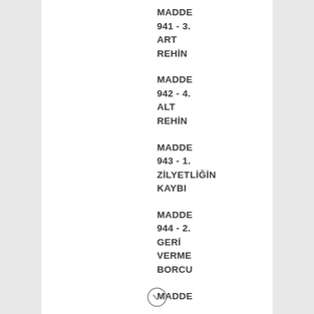MADDE 941 - 3. ART REHİN
MADDE 942 - 4. ALT REHİN
MADDE 943 - 1. ZİLYETLİĞİN KAYBI
MADDE 944 - 2. GERİ VERME BORCU
MADDE